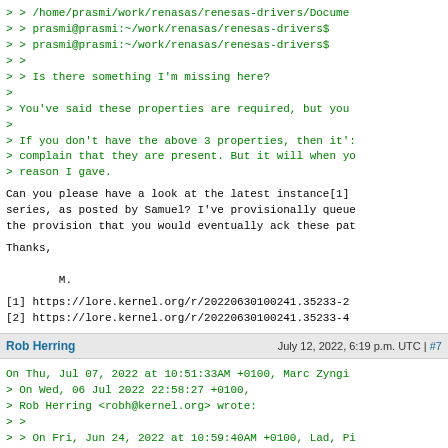> > /home/prasmi/work/renasas/renesas-drivers/Docume
> > prasmi@prasmi:~/work/renasas/renesas-drivers$
> > prasmi@prasmi:~/work/renasas/renesas-drivers$
> >
> > Is there something I'm missing here?
>
> You've said these properties are required, but you
>
> If you don't have the above 3 properties, then it':
> complain that they are present. But it will when yo
> reason I gave.
Can you please have a look at the latest instance[1]
series, as posted by Samuel? I've provisionally queue
the provision that you would eventually ack these pat
Thanks,

        M.
[1] https://lore.kernel.org/r/20220630100241.35233-2
[2] https://lore.kernel.org/r/20220630100241.35233-4
Rob Herring   July 12, 2022, 6:19 p.m. UTC | #7
On Thu, Jul 07, 2022 at 10:51:33AM +0100, Marc Zyngi
> On Wed, 06 Jul 2022 22:58:27 +0100,
> Rob Herring <robh@kernel.org> wrote:
> >
> > On Fri, Jun 24, 2022 at 10:59:40AM +0100, Lad, Pi
> > > Hi Rob